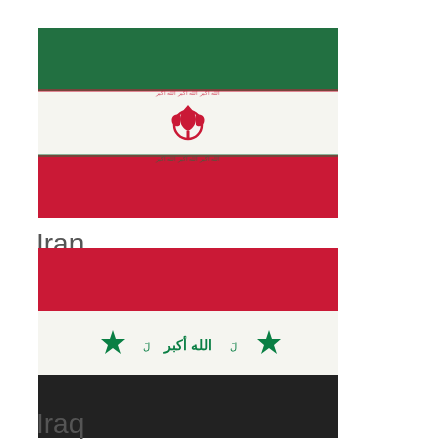[Figure (illustration): Flag of Iran: three horizontal stripes (green, white, red) with the Allah emblem in red at center and decorative script borders between stripes]
Iran
[Figure (illustration): Flag of Iraq: three horizontal stripes (red, white, black) with three green stars and Arabic script in center of white stripe]
Iraq